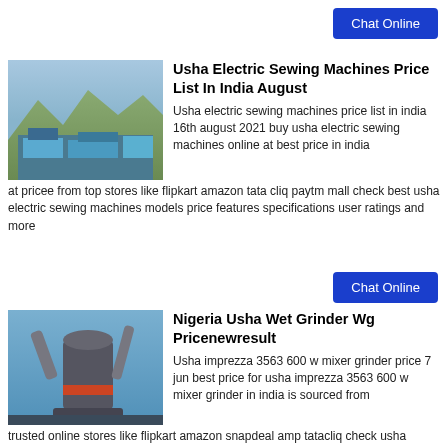[Figure (other): Blue Chat Online button, top right]
[Figure (photo): Aerial view of an industrial facility with blue rooftops and mountains in background]
Usha Electric Sewing Machines Price List In India August
Usha electric sewing machines price list in india 16th august 2021 buy usha electric sewing machines online at best price in india at pricee from top stores like flipkart amazon tata cliq paytm mall check best usha electric sewing machines models price features specifications user ratings and more
[Figure (other): Blue Chat Online button, middle right]
[Figure (photo): Industrial machinery with large cylindrical vessel and pipes, blue sky background]
Nigeria Usha Wet Grinder Wg Pricenewresult
Usha imprezza 3563 600 w mixer grinder price 7 jun best price for usha imprezza 3563 600 w mixer grinder in india is sourced from trusted online stores like flipkart amazon snapdeal amp tatacliq check usha imprezza 3563 600 w mixer grinder specifications ratings